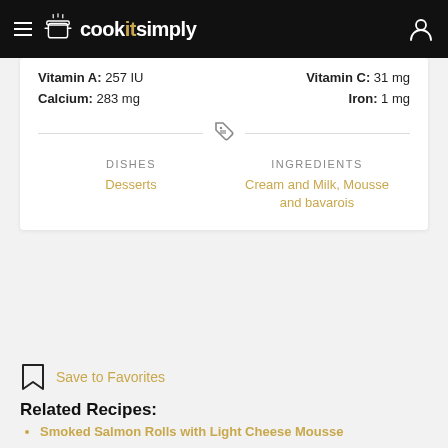cookitsimply
Vitamin A: 257 IU  Vitamin C: 31 mg  Calcium: 283 mg  Iron: 1 mg
DISHES: Desserts  |  INGREDIENTS: Cream and Milk, Mousse and bavarois
Save to Favorites
Related Recipes:
Smoked Salmon Rolls with Light Cheese Mousse
Hot Blue Cheese and Celery Mousse
Crisp Lemon Chicken